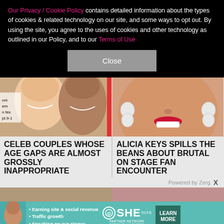Our Privacy / Cookie Policy contains detailed information about the types of cookies & related technology on our site, and some ways to opt out. By using the site, you agree to the uses of cookies and other technology as outlined in our Policy, and to our Terms of Use
Close
[Figure (photo): Two smiling people at a film festival event]
CELEB COUPLES WHOSE AGE GAPS ARE ALMOST GROSSLY INAPPROPRIATE
[Figure (photo): Close-up of a woman with red lipstick and diamond earrings]
ALICIA KEYS SPILLS THE BEANS ABOUT BRUTAL ON STAGE FAN ENCOUNTER
Powered by Zerg
[Figure (photo): Partial bottom strip showing SHE Partner Network advertisement]
Earning site & social revenue
Traffic growth
Speaking on our stages
SHE PARTNER NETWORK BECOME A MEMBER
LEARN MORE